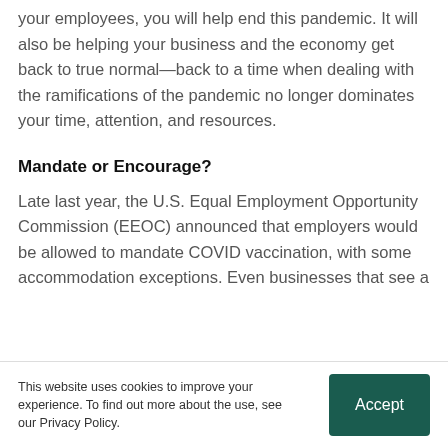your employees, you will help end this pandemic. It will also be helping your business and the economy get back to true normal—back to a time when dealing with the ramifications of the pandemic no longer dominates your time, attention, and resources.
Mandate or Encourage?
Late last year, the U.S. Equal Employment Opportunity Commission (EEOC) announced that employers would be allowed to mandate COVID vaccination, with some accommodation exceptions. Even businesses that see a
This website uses cookies to improve your experience. To find out more about the use, see our Privacy Policy.